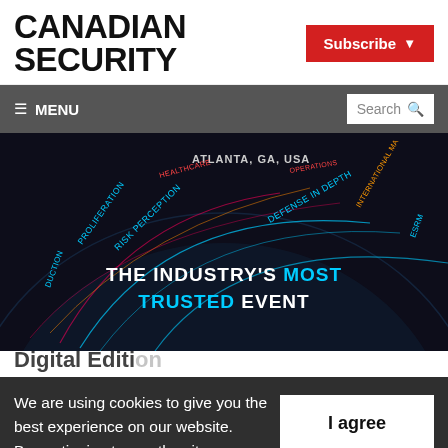CANADIAN SECURITY
[Figure (other): Subscribe button with red background and dropdown arrow]
≡ MENU
[Figure (other): Search box]
[Figure (other): Banner image showing dark globe with security terms: ATLANTA, GA, USA, PROLIFERATION, RISK PERCEPTION, DEFENSE IN DEPTH, INTERNATIONAL MATTERS, ESRM, and text 'THE INDUSTRY'S MOST TRUSTED EVENT' in white and cyan]
Digital Edition
We are using cookies to give you the best experience on our website.
By continuing to use the site, you agree to the use of cookies.
To find out more, read our privacy policy.
I agree